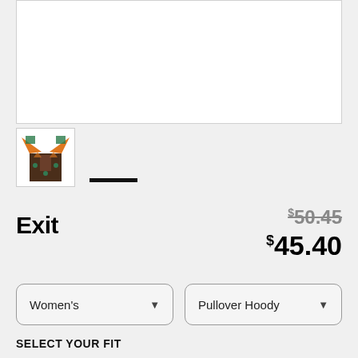[Figure (photo): Large main product image area (white/blank canvas for product photo)]
[Figure (photo): Thumbnail image of colorful illustrated hoodie product with orange and teal design]
Exit
$50.45 (strikethrough original price)
$45.40 (sale price)
Women's (dropdown)
Pullover Hoody (dropdown)
SELECT YOUR FIT